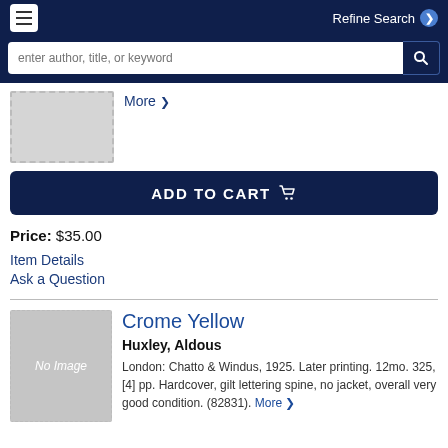Refine Search
More >
ADD TO CART
Price: $35.00
Item Details
Ask a Question
Crome Yellow
Huxley, Aldous
London: Chatto & Windus, 1925. Later printing. 12mo. 325, [4] pp. Hardcover, gilt lettering spine, no jacket, overall very good condition. (82831). More >